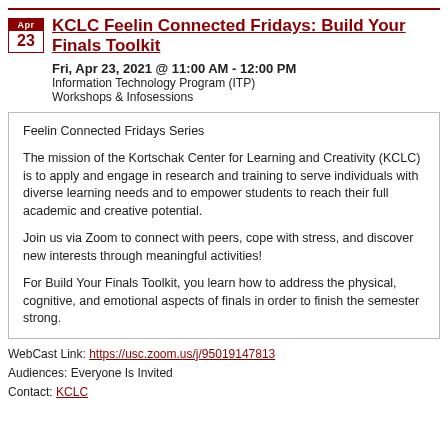KCLC Feelin Connected Fridays: Build Your Finals Toolkit
Fri, Apr 23, 2021 @ 11:00 AM - 12:00 PM
Information Technology Program (ITP)
Workshops & Infosessions
Feelin Connected Fridays Series

The mission of the Kortschak Center for Learning and Creativity (KCLC) is to apply and engage in research and training to serve individuals with diverse learning needs and to empower students to reach their full academic and creative potential.

Join us via Zoom to connect with peers, cope with stress, and discover new interests through meaningful activities!

For Build Your Finals Toolkit, you learn how to address the physical, cognitive, and emotional aspects of finals in order to finish the semester strong.
WebCast Link: https://usc.zoom.us/j/95019147813
Audiences: Everyone Is Invited
Contact: KCLC